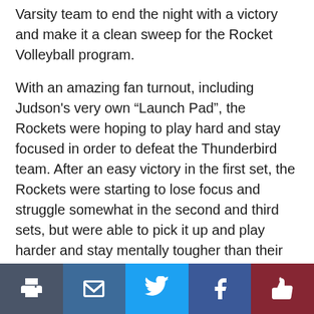Varsity team to end the night with a victory and make it a clean sweep for the Rocket Volleyball program.
With an amazing fan turnout, including Judson's very own “Launch Pad”, the Rockets were hoping to play hard and stay focused in order to defeat the Thunderbird team. After an easy victory in the first set, the Rockets were starting to lose focus and struggle somewhat in the second and third sets, but were able to pick it up and play harder and stay mentally tougher than their opponent and win the match three sets to none. Lady Rockets won the game 3-0.
After this victory over the Thunderbirds, the Rockets won’t see them again until the Dig For A Cure match at Wagner High School, where the Thunderbirds are more likely to try and redeem themselves from this
[Figure (infographic): Social sharing bar with five buttons: print (dark slate), email (blue), Twitter (light blue), Facebook (dark blue), like/thumbs up (dark red)]